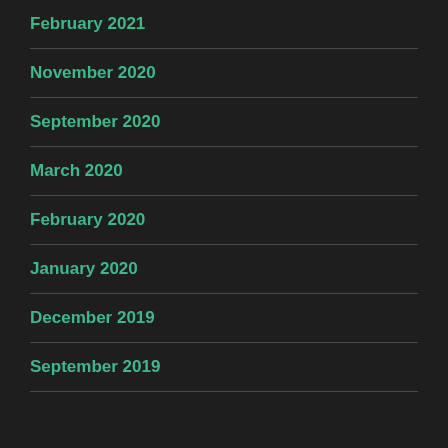February 2021
November 2020
September 2020
March 2020
February 2020
January 2020
December 2019
September 2019